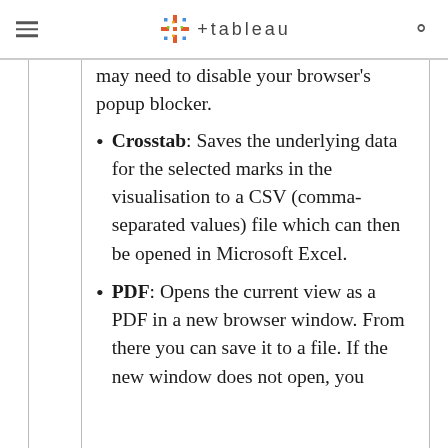Tableau (logo)
may need to disable your browser's popup blocker.
Crosstab: Saves the underlying data for the selected marks in the visualisation to a CSV (comma-separated values) file which can then be opened in Microsoft Excel.
PDF: Opens the current view as a PDF in a new browser window. From there you can save it to a file. If the new window does not open, you